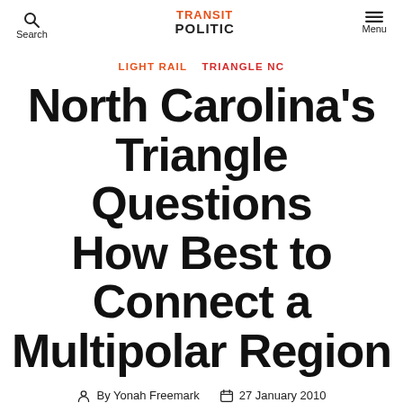Search | TRANSIT POLITIC | Menu
LIGHT RAIL  TRIANGLE NC
North Carolina's Triangle Questions How Best to Connect a Multipolar Region
By Yonah Freemark  27 January 2010
40 Comments